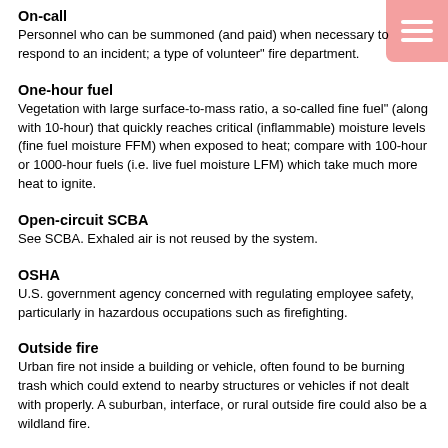On-call
Personnel who can be summoned (and paid) when necessary to respond to an incident; a type of volunteer" fire department.
One-hour fuel
Vegetation with large surface-to-mass ratio, a so-called fine fuel" (along with 10-hour) that quickly reaches critical (inflammable) moisture levels (fine fuel moisture FFM) when exposed to heat; compare with 100-hour or 1000-hour fuels (i.e. live fuel moisture LFM) which take much more heat to ignite.
Open-circuit SCBA
See SCBA. Exhaled air is not reused by the system.
OSHA
U.S. government agency concerned with regulating employee safety, particularly in hazardous occupations such as firefighting.
Outside fire
Urban fire not inside a building or vehicle, often found to be burning trash which could extend to nearby structures or vehicles if not dealt with properly. A suburban, interface, or rural outside fire could also be a wildland fire.